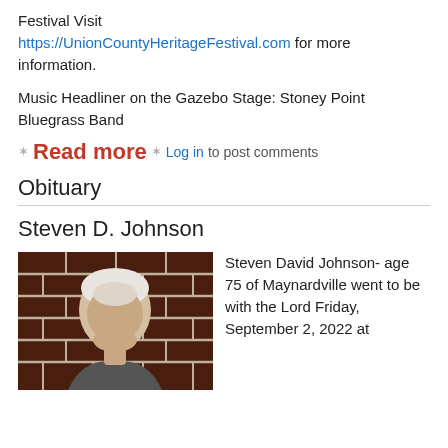Festival Visit https://UnionCountyHeritageFestival.com for more information.
Music Headliner on the Gazebo Stage: Stoney Point Bluegrass Band
Read more  Log in to post comments
Obituary
Steven D. Johnson
[Figure (photo): Portrait photo of Steven D. Johnson, an elderly man with white hair, in front of a brick wall background.]
Steven David Johnson- age 75 of Maynardville went to be with the Lord Friday, September 2, 2022 at